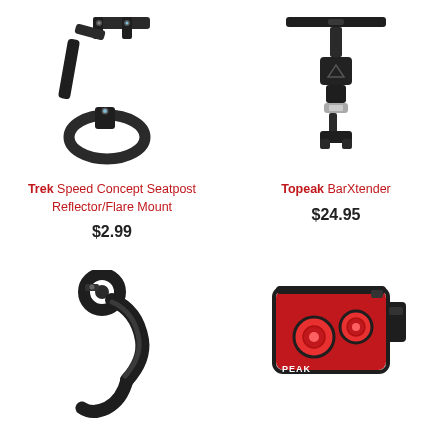[Figure (photo): Trek Speed Concept Seatpost Reflector/Flare Mount - black bracket and strap]
Trek
Speed Concept Seatpost Reflector/Flare Mount
$2.99
[Figure (photo): Topeak BarXtender - black bar extender accessory]
Topeak
BarXtender
$24.95
[Figure (photo): Black bicycle accessory mount/holder]
[Figure (photo): Red bicycle tail light with TOPEAK branding]